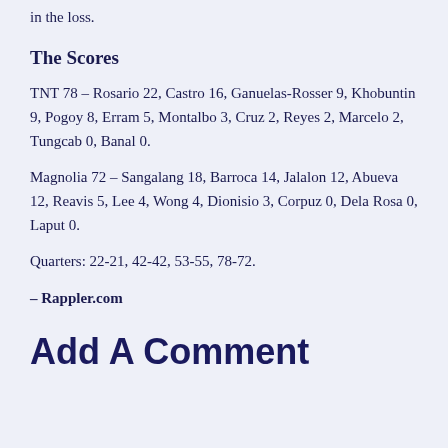in the loss.
The Scores
TNT 78 – Rosario 22, Castro 16, Ganuelas-Rosser 9, Khobuntin 9, Pogoy 8, Erram 5, Montalbo 3, Cruz 2, Reyes 2, Marcelo 2, Tungcab 0, Banal 0.
Magnolia 72 – Sangalang 18, Barroca 14, Jalalon 12, Abueva 12, Reavis 5, Lee 4, Wong 4, Dionisio 3, Corpuz 0, Dela Rosa 0, Laput 0.
Quarters: 22-21, 42-42, 53-55, 78-72.
– Rappler.com
Add A Comment